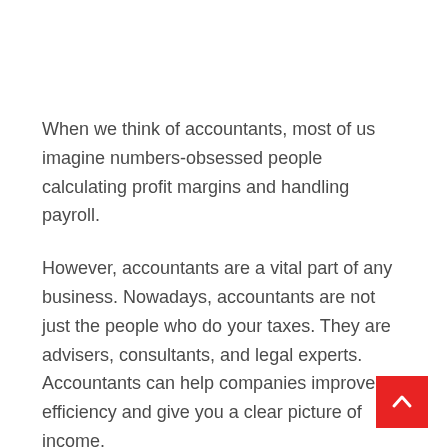When we think of accountants, most of us imagine numbers-obsessed people calculating profit margins and handling payroll.
However, accountants are a vital part of any business. Nowadays, accountants are not just the people who do your taxes. They are advisers, consultants, and legal experts. Accountants can help companies improve efficiency and give you a clear picture of income.